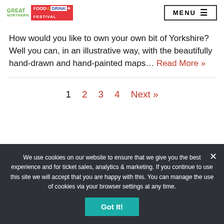GREAT NORTHERN FOOD & DRINK FESTIVAL | MENU
How would you like to own your own bit of Yorkshire? Well you can, in an illustrative way, with the beautifully hand-drawn and hand-painted maps… Read More »
1  2  3  4  Next »
We use cookies on our website to ensure that we give you the best experience and for ticket sales, analytics & marketing. If you continue to use this site we will accept that you are happy with this. You can manage the use of cookies via your browser settings at any time.
Got It!